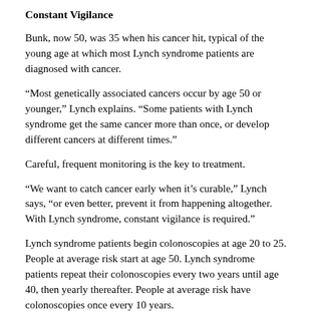Constant Vigilance
Bunk, now 50, was 35 when his cancer hit, typical of the young age at which most Lynch syndrome patients are diagnosed with cancer.
“Most genetically associated cancers occur by age 50 or younger,” Lynch explains. “Some patients with Lynch syndrome get the same cancer more than once, or develop different cancers at different times.”
Careful, frequent monitoring is the key to treatment.
“We want to catch cancer early when it’s curable,” Lynch says, “or even better, prevent it from happening altogether. With Lynch syndrome, constant vigilance is required.”
Lynch syndrome patients begin colonoscopies at age 20 to 25. People at average risk start at age 50. Lynch syndrome patients repeat their colonoscopies every two years until age 40, then yearly thereafter. People at average risk have colonoscopies once every 10 years.
“Studies show that Lynch syndrome patients who have colonoscopies every couple of years lower their chances of colorectal cancer by 60 percent,” Lynch explains. “During colonoscopies we can detect potentially precancerous growths